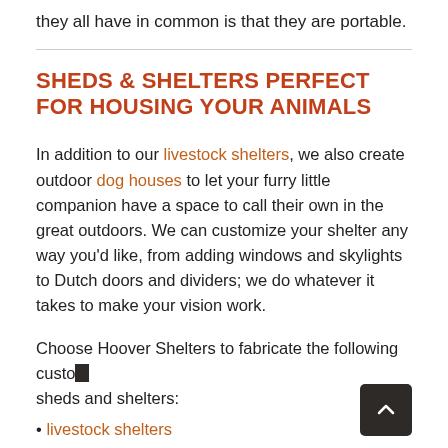they all have in common is that they are portable.
SHEDS & SHELTERS PERFECT FOR HOUSING YOUR ANIMALS
In addition to our livestock shelters, we also create outdoor dog houses to let your furry little companion have a space to call their own in the great outdoors. We can customize your shelter any way you'd like, from adding windows and skylights to Dutch doors and dividers; we do whatever it takes to make your vision work.
Choose Hoover Shelters to fabricate the following custom sheds and shelters:
livestock shelters